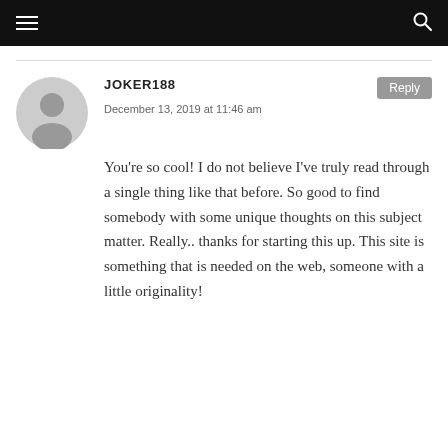JOKER188
December 13, 2019 at 11:46 am
You're so cool! I do not believe I've truly read through a single thing like that before. So good to find somebody with some unique thoughts on this subject matter. Really.. thanks for starting this up. This site is something that is needed on the web, someone with a little originality!